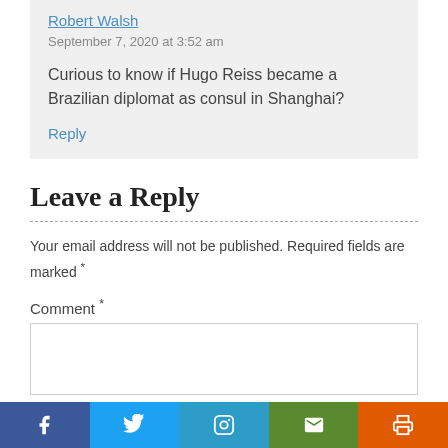Robert Walsh
September 7, 2020 at 3:52 am
Curious to know if Hugo Reiss became a Brazilian diplomat as consul in Shanghai?
Reply
Leave a Reply
Your email address will not be published. Required fields are marked *
Comment *